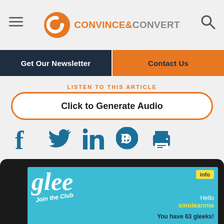CONVINCE&CONVERT
Get Our Newsletter | Contact Us
LISTEN TO THIS ARTICLE
Click to Generate Audio
[Figure (screenshot): Social media share icons: Facebook, Twitter, LinkedIn, Pinterest, Print]
[Figure (screenshot): Tablet showing Glee app email - 'Join the Club', info badge, Hello smuleannie, You have 63 gleeks!]